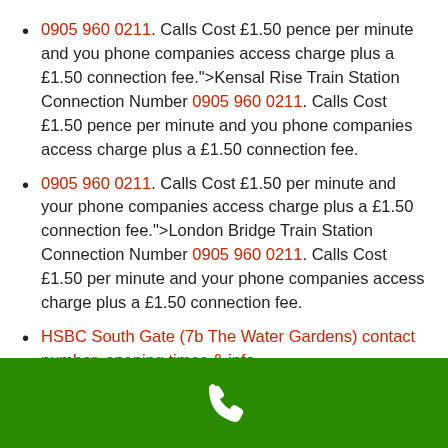0905 960 0211. Calls Cost £1.50 pence per minute and you phone companies access charge plus a £1.50 connection fee.">Kensal Rise Train Station Connection Number 0905 960 0211. Calls Cost £1.50 pence per minute and you phone companies access charge plus a £1.50 connection fee.
0905 960 0211. Calls Cost £1.50 per minute and your phone companies access charge plus a £1.50 connection fee.">London Bridge Train Station Connection Number 0905 960 0211. Calls Cost £1.50 per minute and your phone companies access charge plus a £1.50 connection fee.
HSBC South Gate (7b The Water Gardens) contact number, opening times & info
[Figure (illustration): Green footer bar with a white telephone handset icon centered]